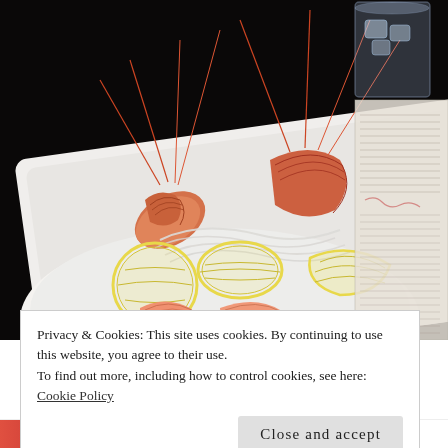[Figure (photo): Photo of cooked whole prawns/shrimp with heads on, placed on a white rectangular plate with lemon slices and glass noodles. Peeled shrimp tails visible at the bottom. A glass of water and what appears to be a newspaper or menu visible in the background. Dark/black background.]
Privacy & Cookies: This site uses cookies. By continuing to use this website, you agree to their use.
To find out more, including how to control cookies, see here: Cookie Policy
Close and accept